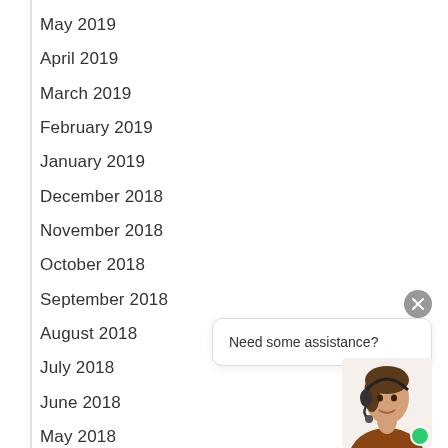May 2019
April 2019
March 2019
February 2019
January 2019
December 2018
November 2018
October 2018
September 2018
August 2018
July 2018
June 2018
May 2018
April 2018
March 2018
[Figure (screenshot): Chat support widget with close button, speech bubble saying 'Need some assistance?' and a photo of a female customer support agent with headset and a green online indicator dot.]